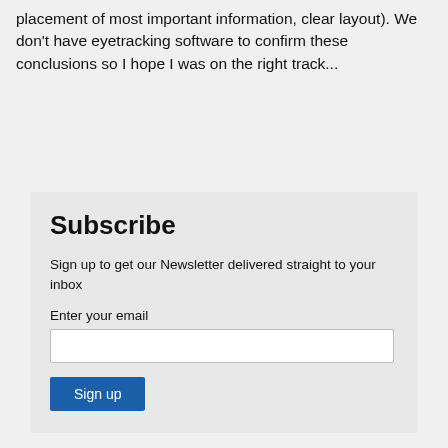placement of most important information, clear layout). We don't have eyetracking software to confirm these conclusions so I hope I was on the right track...
Subscribe
Sign up to get our Newsletter delivered straight to your inbox
Enter your email
Sign up